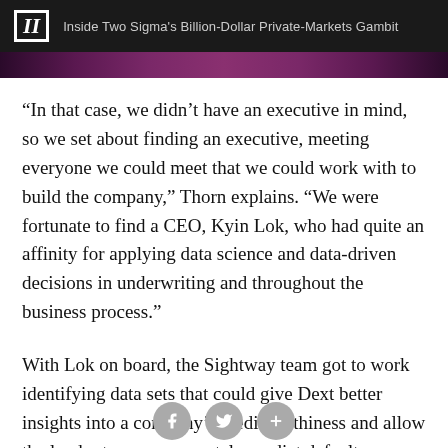II  Inside Two Sigma's Billion-Dollar Private-Markets Gambit
[Figure (photo): Partial image strip with dark purple/maroon gradient, appears to be a cropped photo]
“In that case, we didn’t have an executive in mind, so we set about finding an executive, meeting everyone we could meet that we could work with to build the company,” Thorn explains. “We were fortunate to find a CEO, Kyin Lok, who had quite an affinity for applying data science and data-driven decisions in underwriting and throughout the business process.”
With Lok on board, the Sightway team got to work identifying data sets that could give Dext better insights into a company’s creditworthiness and allow the lender to more accurately predict default.